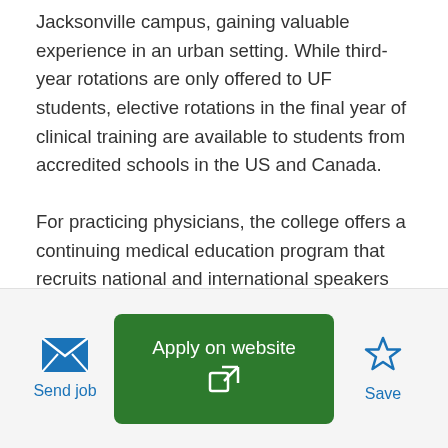Jacksonville campus, gaining valuable experience in an urban setting. While third-year rotations are only offered to UF students, elective rotations in the final year of clinical training are available to students from accredited schools in the US and Canada.
For practicing physicians, the college offers a continuing medical education program that recruits national and international speakers who are well known and respected in their fields.
The college's faculty, residents and fellows are active in clinical research. Residents and fellows regularly
[Figure (screenshot): Bottom action bar with Send job (envelope icon), Apply on website (green button with external link icon), and Save (star icon) buttons]